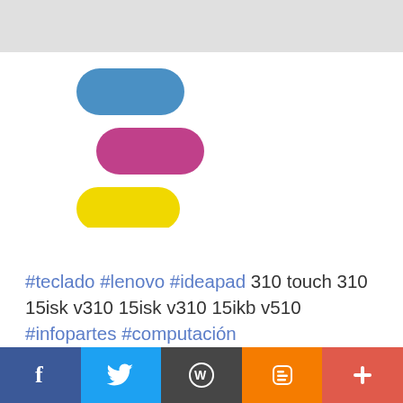[Figure (logo): Three pill/capsule shapes stacked: blue (top-right), magenta/pink (middle), yellow (bottom-left) forming a brand logo]
#teclado #lenovo #ideapad 310 touch 310 15isk v310 15isk v310 15ikb v510 #infopartes #computación
[Figure (photo): Partial product shot of a white and orange bag labeled '310 NUTRITION.COM' with text 'CONTAINS 310 TRI-PLEX PROTEIN BLEND']
[Figure (infographic): Bottom social media share bar with Facebook, Twitter, WordPress, Blogger, and Plus buttons]